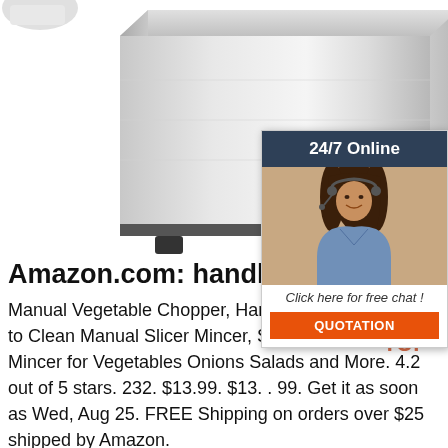[Figure (photo): Stainless steel commercial appliance (ice maker or similar boxy appliance) photographed on white background, cropped showing bottom portion with rubber feet]
[Figure (photo): Customer support chat widget overlay showing a woman with headset smiling, dark blue header reading '24/7 Online', italic text 'Click here for free chat!', and an orange QUOTATION button]
Amazon.com: handheld food c
Manual Vegetable Chopper, Handheld Chopper, Easy to Clean Manual Slicer Mincer, Slap Press Chopper Mincer for Vegetables Onions Salads and More. 4.2 out of 5 stars. 232. $13.99. $13. . 99. Get it as soon as Wed, Aug 25. FREE Shipping on orders over $25 shipped by Amazon.